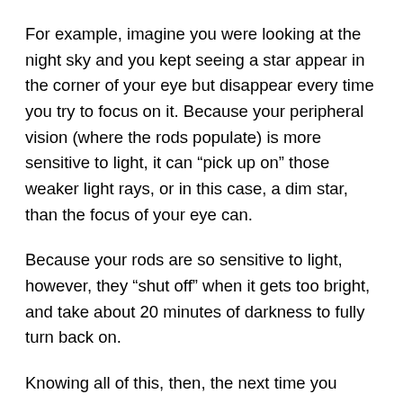For example, imagine you were looking at the night sky and you kept seeing a star appear in the corner of your eye but disappear every time you try to focus on it. Because your peripheral vision (where the rods populate) is more sensitive to light, it can “pick up on” those weaker light rays, or in this case, a dim star, than the focus of your eye can.
Because your rods are so sensitive to light, however, they “shut off” when it gets too bright, and take about 20 minutes of darkness to fully turn back on.
Knowing all of this, then, the next time you wake up in the middle of the night to use the bathroom, “do the pirate” and close one eye before you turn the lights on, so you’ll still have all your rods “active” in one eye when you go to move about in the darkness